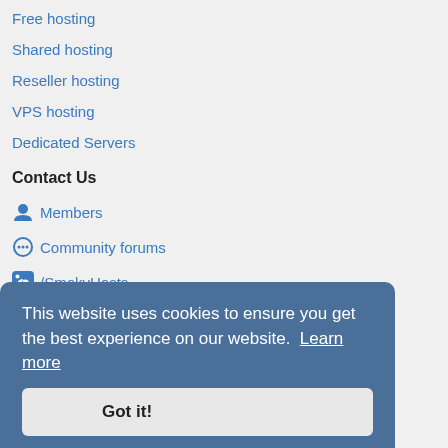Free hosting
Shared hosting
Reseller hosting
VPS hosting
Dedicated Servers
Contact Us
Members
Community forums
/SmokyHosts
/SmokyHosts
:sales@smokyhosts.com
This website uses cookies to ensure you get the best experience on our website. Learn more
Copyright (c) 2004-2021 SmokyHosts.com. All Rights Reserved.